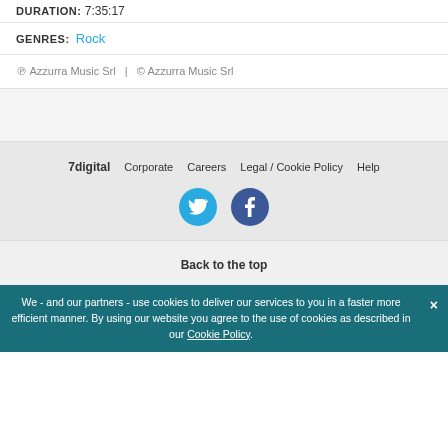DURATION: 7:35:17
GENRES: Rock
℗ Azzurra Music Srl  |  © Azzurra Music Srl
7digital  Corporate  Careers  Legal / Cookie Policy  Help
[Figure (other): Twitter and Facebook social media icons (circular buttons)]
Back to the top
We - and our partners - use cookies to deliver our services to you in a faster more efficient manner. By using our website you agree to the use of cookies as described in our Cookie Policy.